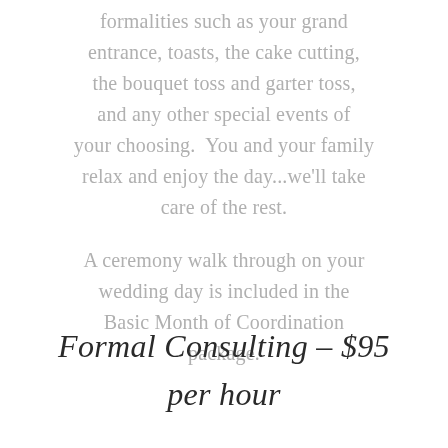formalities such as your grand entrance, toasts, the cake cutting, the bouquet toss and garter toss, and any other special events of your choosing.  You and your family relax and enjoy the day...we'll take care of the rest.
A ceremony walk through on your wedding day is included in the Basic Month of Coordination package.
Formal Consulting – $95 per hour